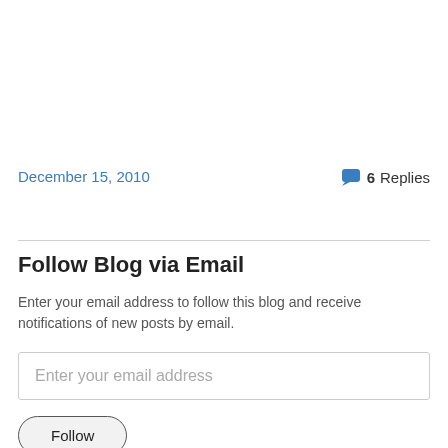December 15, 2010
6 Replies
Follow Blog via Email
Enter your email address to follow this blog and receive notifications of new posts by email.
Enter your email address
Follow